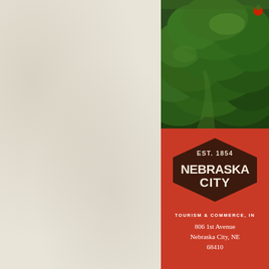[Figure (photo): Aerial or close-up view of green trees/shrubs with dense foliage, natural landscape]
[Figure (logo): Nebraska City logo badge: dark brown diamond shape with 'EST. 1854' at top and 'NEBRASKA CITY' in large bold white text]
TOURISM & COMMERCE, IN
806 1st Avenue
Nebraska City, NE
68410